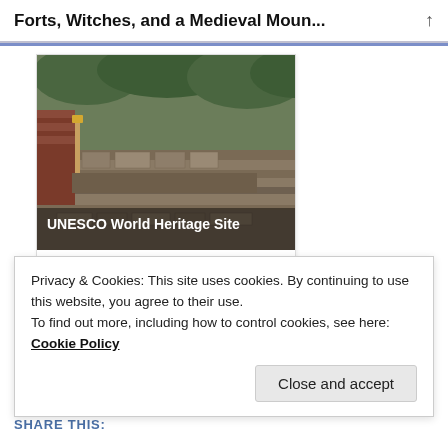Forts, Witches, and a Medieval Moun...
[Figure (photo): Photo of a UNESCO World Heritage Site showing stone fort walls with red brick accents against a forested hillside backdrop. Overlay text reads 'UNESCO World Heritage Site'.]
BAGUETTESANDBICYCLETTES.COM
Forts, Witches, and a M...
Published by
Privacy & Cookies: This site uses cookies. By continuing to use this website, you agree to their use.
To find out more, including how to control cookies, see here: Cookie Policy
Close and accept
SHARE THIS: